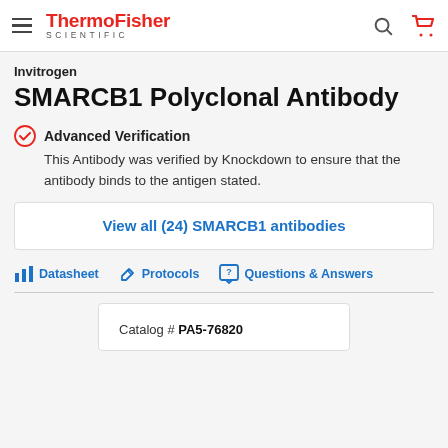ThermoFisher SCIENTIFIC
Invitrogen
SMARCB1 Polyclonal Antibody
Advanced Verification
This Antibody was verified by Knockdown to ensure that the antibody binds to the antigen stated.
View all (24) SMARCB1 antibodies
Datasheet   Protocols   Questions & Answers
Catalog # PA5-76820